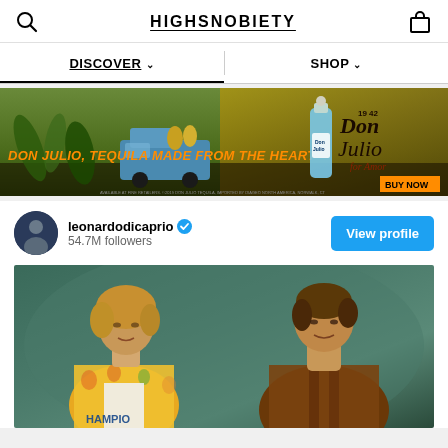HIGHSNOBIETY
DISCOVER  SHOP
[Figure (photo): Don Julio tequila advertisement banner with a blue vintage truck and agave fields. Text reads 'DON JULIO, TEQUILA MADE FROM THE HEART' in orange letters. Don Julio bottle visible with 'BUY NOW' button.]
[Figure (screenshot): Instagram-style social card showing leonardodicaprio verified account with 54.7M followers and View profile button. Below is a post image showing two men (Brad Pitt in yellow floral shirt and Leonardo DiCaprio in brown leather jacket) against a teal/green background.]